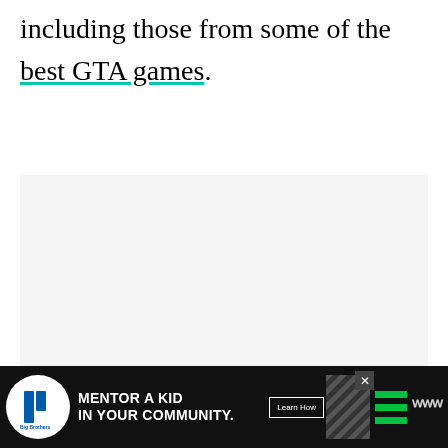including those from some of the best GTA games.
[Figure (other): Large empty light-gray image area in the middle of the article page]
[Figure (infographic): Floating UI buttons on right side: heart/like button (blue circle), count badge showing '1', share button (light circle with share icon)]
[Figure (other): Advertisement banner at bottom: Big Brothers Big Sisters logo, 'MENTOR A KID IN YOUR COMMUNITY.' headline, 'Learn How' button, decorative diagonal stripe pattern, green hamburger lines, and W logo]